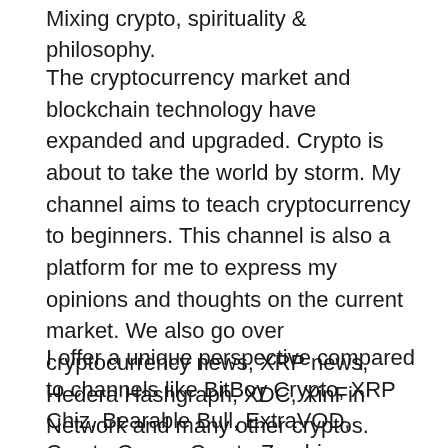Mixing crypto, spirituality & philosophy.
The cryptocurrency market and blockchain technology have expanded and upgraded. Crypto is about to take the world by storm. My channel aims to teach cryptocurrency to beginners. This channel is also a platform for me to express my opinions and thoughts on the current market. We also go over cryptocurrency news, XRP news, Hedera Hashgraph, XDC, XinFin Network and many other cryptos. Crypto Mason talks about XRP, HBAR (Hedera Hashgraph), XDC (XinFin Network), Ethereum, Chainlink, Algorand (ALGO), IOTA, Enjin, and several other altcoins.
I offer a unique perspective compared to channels like BitBoy Crypto, XRP Chiz, Bearable Bull, ExtraVOD, Crypto Casey, Crypto Zombie, or Crypto Kirby, in that I am very into spirituality and deep knowledge. This comes out in my cryptocurrency analysis and when I am making videos about